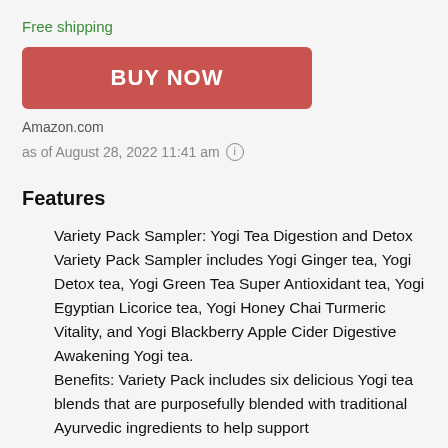Free shipping
[Figure (other): Red BUY NOW button]
Amazon.com
as of August 28, 2022 11:41 am
Features
Variety Pack Sampler: Yogi Tea Digestion and Detox Variety Pack Sampler includes Yogi Ginger tea, Yogi Detox tea, Yogi Green Tea Super Antioxidant tea, Yogi Egyptian Licorice tea, Yogi Honey Chai Turmeric Vitality, and Yogi Blackberry Apple Cider Digestive Awakening Yogi tea.
Benefits: Variety Pack includes six delicious Yogi tea blends that are purposefully blended with traditional Ayurvedic ingredients to help support